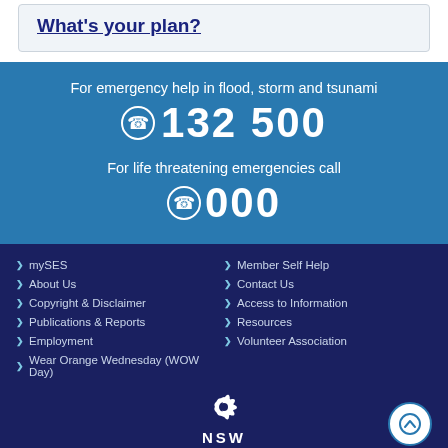What's your plan?
For emergency help in flood, storm and tsunami
132 500
For life threatening emergencies call
000
mySES
About Us
Copyright & Disclaimer
Publications & Reports
Employment
Wear Orange Wednesday (WOW Day)
Member Self Help
Contact Us
Access to Information
Resources
Volunteer Association
[Figure (logo): NSW Government waratah logo with white flower and NSW text]